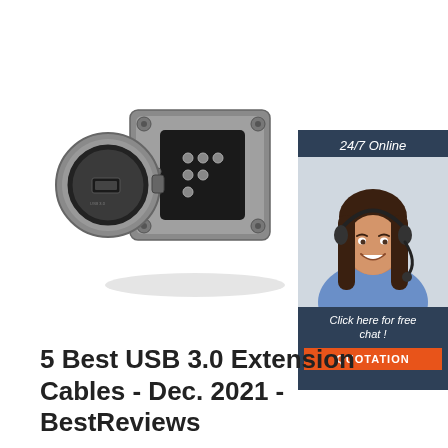[Figure (photo): A USB connector/adapter with a metal flange plate showing a circular female port with rubber gasket and a multi-pin male connector, displayed open showing internal pins, on a white background]
[Figure (photo): Advertisement banner showing a woman with a headset smiling, with dark blue background, text '24/7 Online', 'Click here for free chat!', and an orange 'QUOTATION' button]
5 Best USB 3.0 Extension Cables - Dec. 2021 - BestReviews